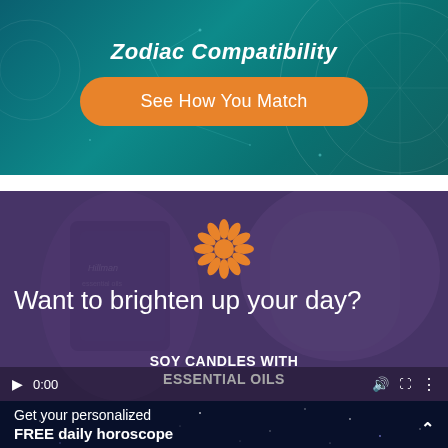Zodiac Compatibility
See How You Match
[Figure (screenshot): Video advertisement with purple overlay showing candles. Text reads 'Want to brighten up your day?' and 'SOY CANDLES WITH ESSENTIAL OILS'. Video controls show play button and 0:00 timestamp.]
Get your personalized FREE daily horoscope